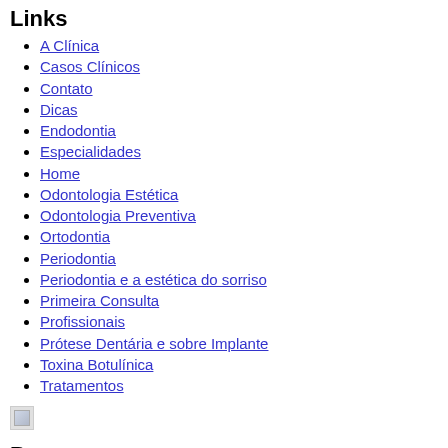Links
A Clínica
Casos Clínicos
Contato
Dicas
Endodontia
Especialidades
Home
Odontologia Estética
Odontologia Preventiva
Ortodontia
Periodontia
Periodontia e a estética do sorriso
Primeira Consulta
Profissionais
Prótese Dentária e sobre Implante
Toxina Botulínica
Tratamentos
[Figure (other): Broken image placeholder]
Busca
SEARCH [input] go [button]